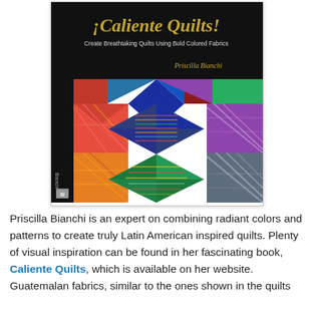[Figure (photo): Book cover of '¡Caliente Quilts! Create Breathtaking Quilts Using Bold Colored Fabrics' by Priscilla Bianchi. Cover shows colorful geometric quilt patterns with vibrant Latin American fabrics. Black spine shows title and author name.]
Priscilla Bianchi is an expert on combining radiant colors and patterns to create truly Latin American inspired quilts. Plenty of visual inspiration can be found in her fascinating book, Caliente Quilts, which is available on her website. Guatemalan fabrics, similar to the ones shown in the quilts